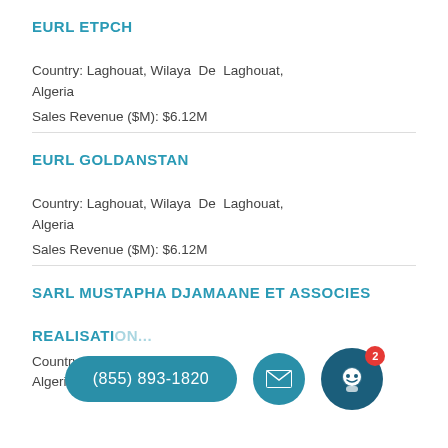EURL ETPCH
Country: Laghouat, Wilaya De Laghouat, Algeria
Sales Revenue ($M): $6.12M
EURL GOLDANSTAN
Country: Laghouat, Wilaya De Laghouat, Algeria
Sales Revenue ($M): $6.12M
SARL MUSTAPHA DJAMAANE ET ASSOCIES REALISATI
Country: [Laghouat, Wilaya De Laghouat,] Algeria